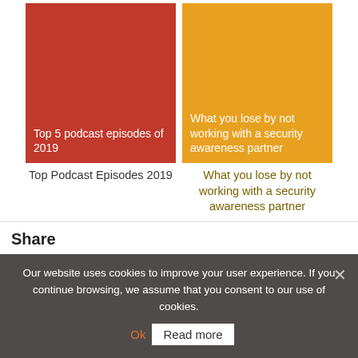[Figure (illustration): Red card image thumbnail with white text: Top 5 podcast episodes of 2019]
Top Podcast Episodes 2019
[Figure (illustration): Orange card image thumbnail with white text: What you lose by not working with a security awareness partner]
What you lose by not working with a security awareness partner
Share
[Figure (other): Row of four social share icons: LinkedIn (blue), Twitter (light blue), Facebook (dark blue), Email (green)]
Our website uses cookies to improve your user experience. If you continue browsing, we assume that you consent to our use of cookies.